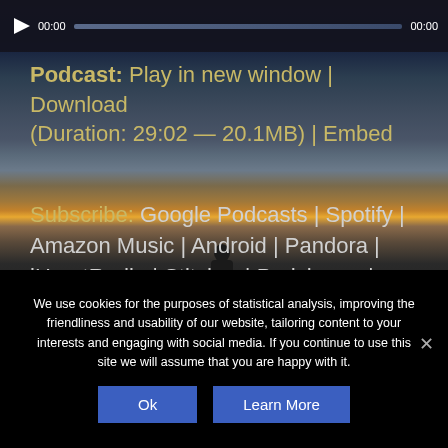[Figure (screenshot): Audio player bar with play button, time 00:00, progress bar, and end time 00:00 on dark background]
Podcast: Play in new window | Download (Duration: 29:02 — 20.1MB) | Embed
Subscribe: Google Podcasts | Spotify | Amazon Music | Android | Pandora | iHeartRadio | Stitcher | Podchaser | Podcast Index | Email | TuneIn | RSS | More
[Figure (photo): Sunset landscape background with silhouette of a person standing on a hillside overlooking a glowing horizon with dramatic cloudy sky]
We use cookies for the purposes of statistical analysis, improving the friendliness and usability of our website, tailoring content to your interests and engaging with social media. If you continue to use this site we will assume that you are happy with it.
Ok   Learn More